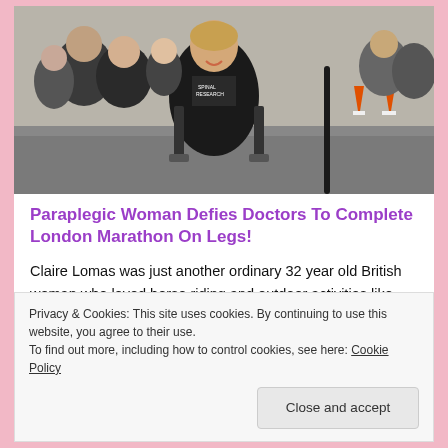[Figure (photo): A smiling woman in a black Spinal Research athletic top using a walking exoskeleton, surrounded by crowds, with orange traffic cones visible in the background at what appears to be the London Marathon route.]
Paraplegic Woman Defies Doctors To Complete London Marathon On Legs!
Claire Lomas was just another ordinary 32 year old British woman who loved horse riding and outdoor activities like many others. She was not famous nor was she a superstar
Privacy & Cookies: This site uses cookies. By continuing to use this website, you agree to their use.
To find out more, including how to control cookies, see here: Cookie Policy
Close and accept